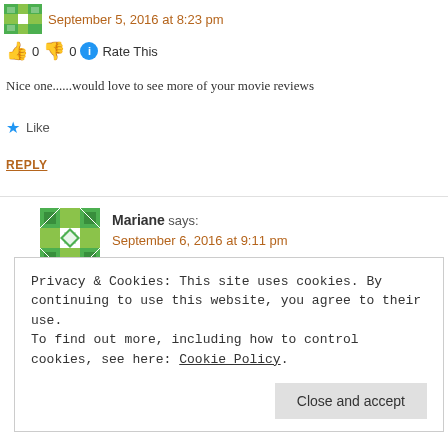September 5, 2016 at 8:23 pm
0  0  Rate This
Nice one......would love to see more of your movie reviews
Like
REPLY
Mariane says:
September 6, 2016 at 9:11 pm
Privacy & Cookies: This site uses cookies. By continuing to use this website, you agree to their use.
To find out more, including how to control cookies, see here: Cookie Policy
Close and accept